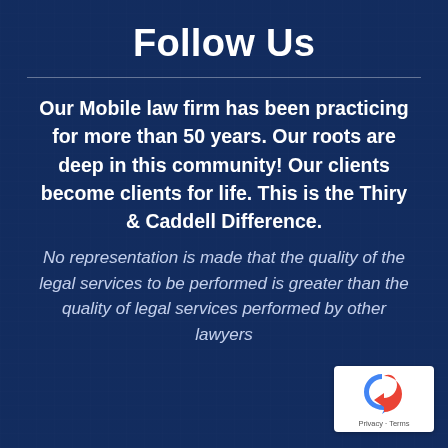Follow Us
Our Mobile law firm has been practicing for more than 50 years. Our roots are deep in this community! Our clients become clients for life. This is the Thiry & Caddell Difference. No representation is made that the quality of the legal services to be performed is greater than the quality of legal services performed by other lawyers
[Figure (logo): Google reCAPTCHA badge with Privacy and Terms links]